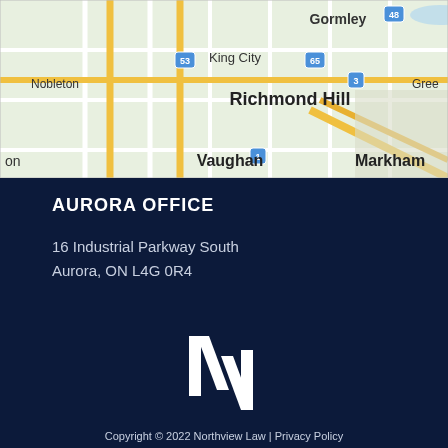[Figure (map): Google Maps showing the area around Richmond Hill, Ontario, Canada. Visible place names include Gormley, King City, Nobleton, Richmond Hill, Vaughan, Markham, and highway markers 48, 65, 53, 3, 1.]
AURORA OFFICE
16 Industrial Parkway South
Aurora, ON L4G 0R4
[Figure (logo): Northview Law logo — stylized double-N lettermark in white above the text NORTHVIEW LAW]
Copyright © 2022 Northview Law | Privacy Policy